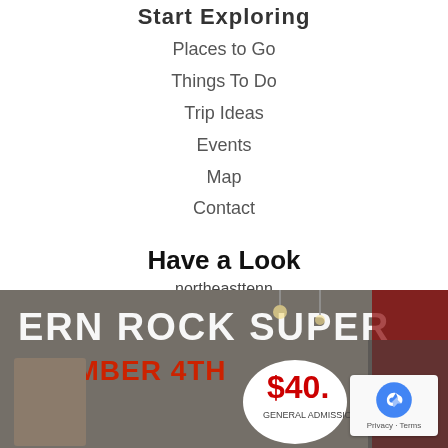Start Exploring
Places to Go
Things To Do
Trip Ideas
Events
Map
Contact
Have a Look
northeasttenn
[Figure (photo): Magazine cover or promotional image with text 'ERN ROCK SUPER' and 'PTEMBER 4TH' and '$40. GENERAL ADMISSION' visible, partially cropped]